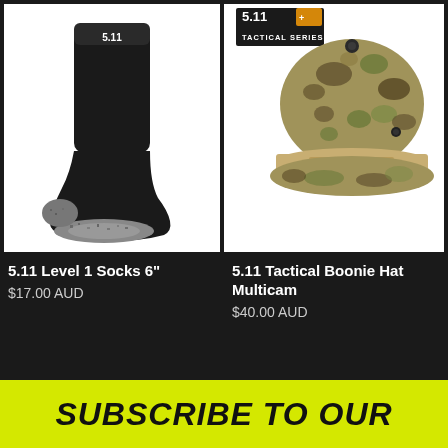[Figure (photo): Black 5.11 Level 1 Sock with grey heel and toe on white background]
5.11 Level 1 Socks 6"
$17.00 AUD
[Figure (photo): 5.11 Tactical Series logo badge and multicam boonie hat on white background]
5.11 Tactical Boonie Hat Multicam
$40.00 AUD
SUBSCRIBE TO OUR